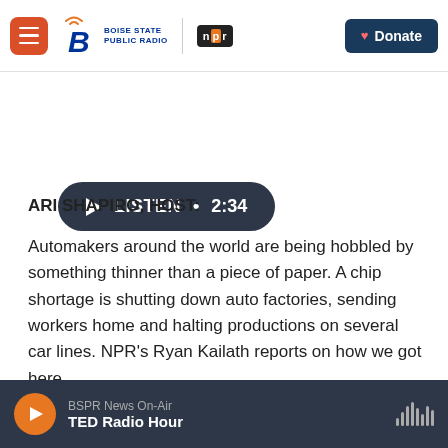Boise State Public Radio | NPR | Donate
[Figure (screenshot): Audio player button showing LISTEN • 2:34 in dark rounded rectangle with play triangle icon]
ARI SHAPIRO, HOST:
Automakers around the world are being hobbled by something thinner than a piece of paper. A chip shortage is shutting down auto factories, sending workers home and halting productions on several car lines. NPR's Ryan Kailath reports on how we got here.
BSPR News On-Air | TED Radio Hour